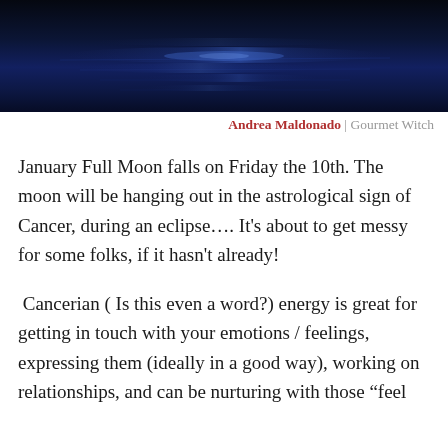[Figure (photo): Dark blue moonlit water surface with rippling reflections, night scene]
Andrea Maldonado | Gourmet Witch
January Full Moon falls on Friday the 10th. The moon will be hanging out in the astrological sign of Cancer, during an eclipse…. It’s about to get messy for some folks, if it hasn’t already!
Cancerian ( Is this even a word?) energy is great for getting in touch with your emotions / feelings, expressing them (ideally in a good way), working on relationships, and can be nurturing with those “feel